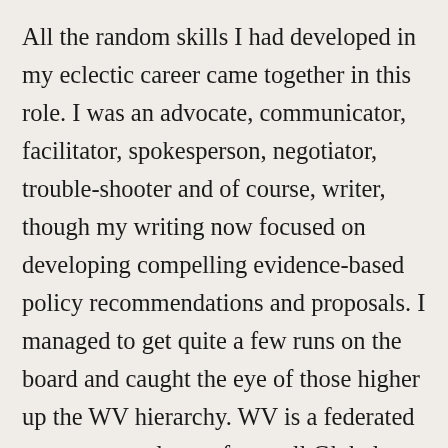All the random skills I had developed in my eclectic career came together in this role. I was an advocate, communicator, facilitator, spokesperson, negotiator, trouble-shooter and of course, writer, though my writing now focused on developing compelling evidence-based policy recommendations and proposals. I managed to get quite a few runs on the board and caught the eye of those higher up the WV hierarchy. WV is a federated structure, made up of a small Global Centre (the Feds), Support Offices (the ones that make the money, Australia, US, UK, Germany etc) and Field Offices (the ones where the real work of tackling poverty gets done).